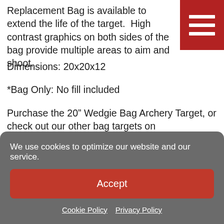Replacement Bag is available to extend the life of the target.  High contrast graphics on both sides of the bag provide multiple areas to aim and shoot.
Dimensions: 20x20x12
*Bag Only: No fill included
Purchase the 20” Wedgie Bag Archery Target, or check out our other bag targets on dmtargets.com
We use cookies to optimize our website and our service.
Accept
Cookie Policy   Privacy Policy